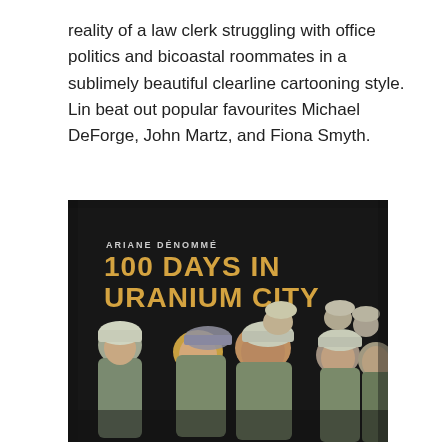reality of a law clerk struggling with office politics and bicoastal roommates in a sublimely beautiful clearline cartooning style. Lin beat out popular favourites Michael DeForge, John Martz, and Fiona Smyth.
[Figure (illustration): Book cover of '100 Days in Uranium City' by Ariane Dénommé. Dark background with illustrated miners/workers wearing helmets, crowded together. Title text in gold/orange letters at top left.]